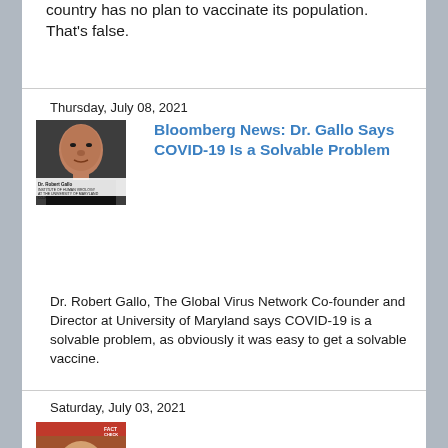country has no plan to vaccinate its population. That's false.
Thursday, July 08, 2021
[Figure (photo): Headshot of Dr. Robert Gallo with label: Dr. Robert Gallo, Institute of Human Virology at the University of Maryland, Co-founder & Director]
Bloomberg News: Dr. Gallo Says COVID-19 Is a Solvable Problem
Dr. Robert Gallo, The Global Virus Network Co-founder and Director at University of Maryland says COVID-19 is a solvable problem, as obviously it was easy to get a solvable vaccine.
Saturday, July 03, 2021
[Figure (photo): Partial headshot of a person, partially visible at bottom of page]